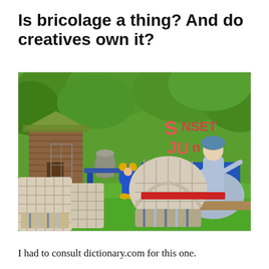Is bricolage a thing? And do creatives own it?
[Figure (photo): Outdoor scene showing a collection of eclectic vintage and folk art items on a lawn, including wicker chairs with striped cushions in the foreground, a large decorative female figurine in a blue dress, colorful signs reading 'Sunset Jungle Amusement Palace', cartoon character figures, birdcages, metal containers, and a rustic log structure amid lush green trees and grass.]
I had to consult dictionary.com for this one.